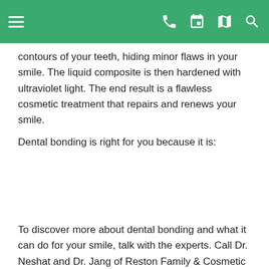Navigation bar with menu, phone, calendar, map, and search icons
contours of your teeth, hiding minor flaws in your smile. The liquid composite is then hardened with ultraviolet light. The end result is a flawless cosmetic treatment that repairs and renews your smile.
Dental bonding is right for you because it is:
To discover more about dental bonding and what it can do for your smile, talk with the experts. Call Dr. Neshat and Dr. Jang of Reston Family & Cosmetic Dentistry in Reston, VA, at (703) 437-5555 now!
0 Comment(s)  Permalink
[Figure (infographic): Social share buttons: Facebook, Twitter, Email, Google, Favorite (star), Add (+)]
Older Posts (49)